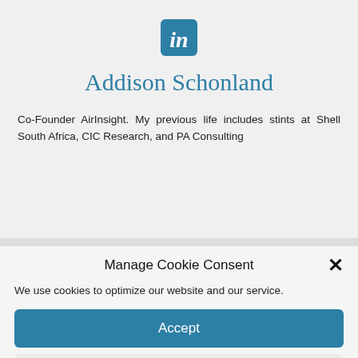[Figure (logo): LinkedIn 'in' logo icon in teal/blue color]
Addison Schonland
Co-Founder AirInsight. My previous life includes stints at Shell South Africa, CIC Research, and PA Consulting
Manage Cookie Consent
We use cookies to optimize our website and our service.
Accept
Deny
Preferences
Cookie Policy   Privacy Policy